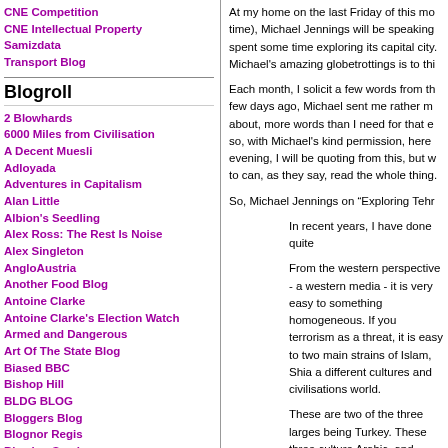CNE Competition
CNE Intellectual Property
Samizdata
Transport Blog
Blogroll
2 Blowhards
6000 Miles from Civilisation
A Decent Muesli
Adloyada
Adventures in Capitalism
Alan Little
Albion's Seedling
Alex Ross: The Rest Is Noise
Alex Singleton
AngloAustria
Another Food Blog
Antoine Clarke
Antoine Clarke's Election Watch
Armed and Dangerous
Art Of The State Blog
Biased BBC
Bishop Hill
BLDG BLOG
Bloggers Blog
Blognor Regis
Blowing Smoke
Boatang & Demetriou
At my home on the last Friday of this mo time), Michael Jennings will be speaking spent some time exploring its capital city Michael's amazing globetrottings is to thi
Each month, I solicit a few words from th few days ago, Michael sent me rather m about, more words than I need for that e so, with Michael's kind permission, here evening, I will be quoting from this, but w to can, as they say, read the whole thing.
So, Michael Jennings on “Exploring Tehr
In recent years, I have done quite
From the western perspective - a western media - it is very easy to something homogeneous. If you terrorism as a threat, it is easy to two main strains of Islam, Shia a different cultures and civilisations world.
These are two of the three larges being Turkey. These three culture Arabic, and Turkish - and the hist cultures go back thousands of ye These cultures are tremendously war with Arab Iraq between 1980 the country the way World War 1 the wars of the past 15 years in